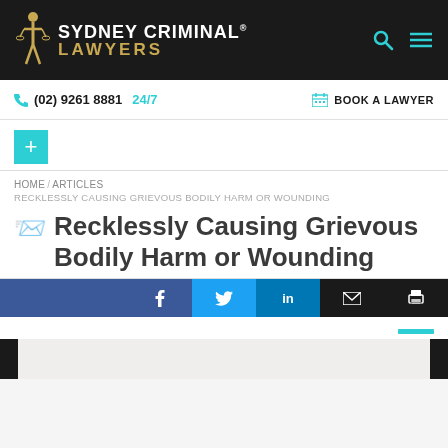[Figure (logo): Sydney Criminal Lawyers logo with gold figure and teal/white text on black background]
(02) 9261 8881 24/7  BOOK A LAWYER
[Figure (other): Teal plus button]
HOME / ARTICLES / RECKLESSLY CAUSING GRIEVOUS BODILY HARM OR WOUNDING
Recklessly Causing Grievous Bodily Harm or Wounding
[Figure (other): Social sharing bar: Facebook, Twitter, LinkedIn, Email, Print buttons]